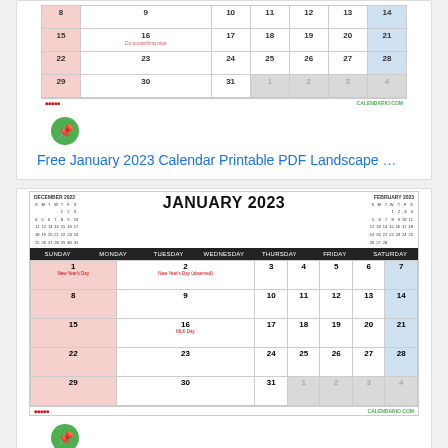[Figure (other): Partial January 2023 calendar showing weeks with dates 8-31, with Sundays in pink and Saturdays in blue, grayed-out overflow dates]
Free January 2023 Calendar Printable PDF Landscape …
[Figure (other): Full January 2023 calendar with JANUARY 2023 header, days of week row, date grid showing 1-31 with mini December 2022 and February 2023 reference calendars, Sundays pink, Saturdays blue]
Free January 2023 Calendar Printable PDF Landscape …